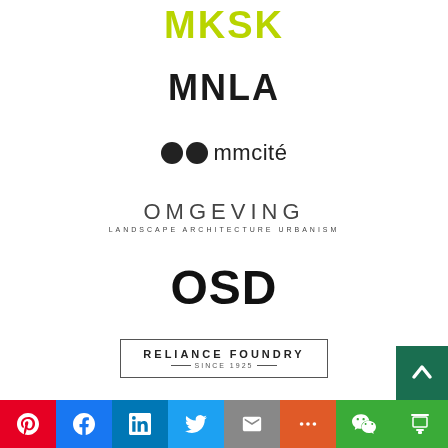[Figure (logo): MKSK logo in yellow-green bold text]
[Figure (logo): MNLA logo in bold black text]
[Figure (logo): mmcité logo with two black circles and text]
[Figure (logo): OMGEVING landscape architecture urbanism logo]
[Figure (logo): OSD logo in bold black text]
[Figure (logo): Reliance Foundry Since 1925 logo with border]
[Figure (infographic): Social sharing bar with Pinterest, Facebook, LinkedIn, Twitter, Email, More, WeChat, Douban buttons and back-to-top button]